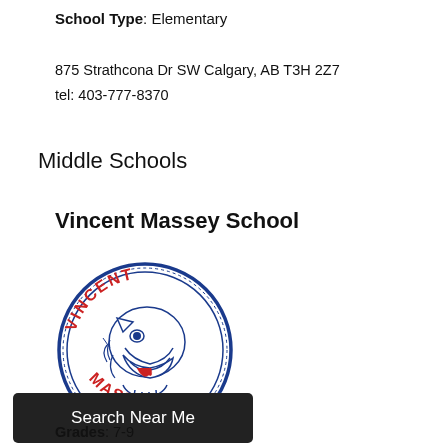School Type: Elementary
875 Strathcona Dr SW Calgary, AB T3H 2Z7
tel: 403-777-8370
Middle Schools
Vincent Massey School
[Figure (logo): Vincent Massey School circular logo with a wolf/cougar mascot in blue and red on white background, text 'VINCENT' at top and 'MASSEY' at bottom in red, circular border in blue]
Search Near Me
Grades: 7-9